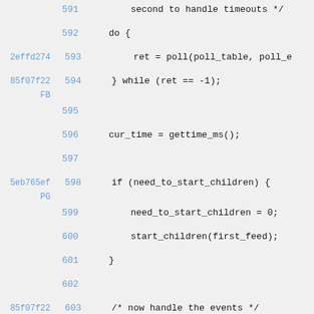Code viewer showing lines 591-605 of source code with commit hashes 2effd274 FB, 85f07f22 FB, 5eb765ef PG
591                     second to handle timeouts */
592             do {
2effd274 593         ret = poll(poll_table, poll_e
85f07f22 594     } while (ret == -1);
FB
595
596         cur_time = gettime_ms();
597
5eb765ef 598     if (need_to_start_children) {
PG
599             need_to_start_children = 0;
600             start_children(first_feed);
601     }
602
85f07f22 603     /* now handle the events */
2effd274 604     for(c = first_http_ctx; c != NULL
FB
605             c_next = c->next;